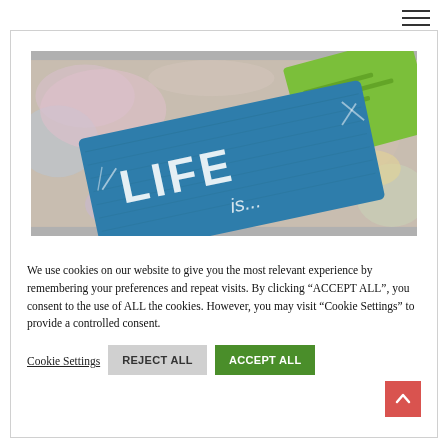[Figure (photo): A teal/blue distressed wooden sign with white painted text reading 'LIFE is...' surrounded by colorful painted surfaces including a green card in the upper right corner, on a paint-splattered background.]
We use cookies on our website to give you the most relevant experience by remembering your preferences and repeat visits. By clicking "ACCEPT ALL", you consent to the use of ALL the cookies. However, you may visit "Cookie Settings" to provide a controlled consent.
Cookie Settings
REJECT ALL
ACCEPT ALL